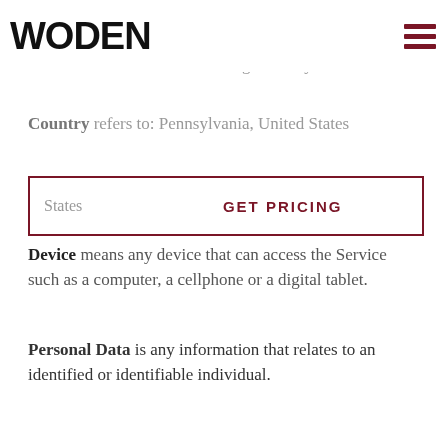[Figure (logo): WODEN logo in bold black sans-serif font, top left]
device by a website, containing the details of our browsing history on that website among its many uses.
Country refers to: Pennsylvania, United States
GET PRICING
Device means any device that can access the Service such as a computer, a cellphone or a digital tablet.
Personal Data is any information that relates to an identified or identifiable individual.
Service refers to the Website.
Service Provider means any natural or legal person who processes the data on behalf of the Company. It refers to third-party companies or individuals employed by the Company to facilitate the Service, to provide the Service on behalf of the Company, to